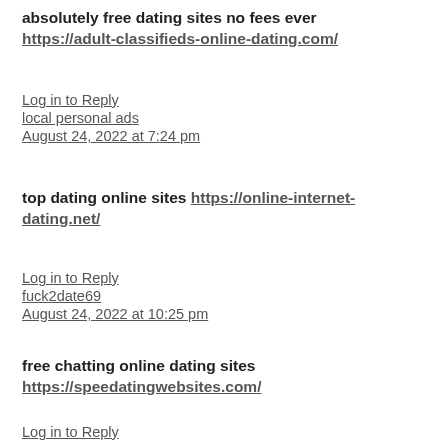absolutely free dating sites no fees ever https://adult-classifieds-online-dating.com/
Log in to Reply
local personal ads
August 24, 2022 at 7:24 pm
top dating online sites https://online-internet-dating.net/
Log in to Reply
fuck2date69
August 24, 2022 at 10:25 pm
free chatting online dating sites https://speedatingwebsites.com/
Log in to Reply